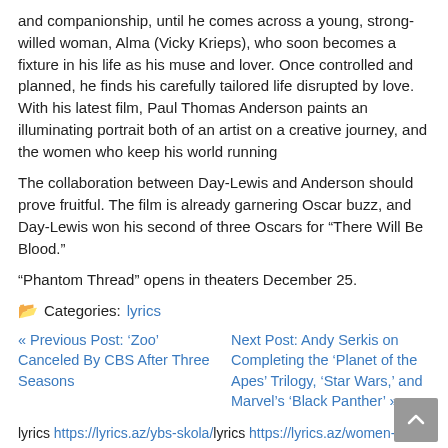and companionship, until he comes across a young, strong-willed woman, Alma (Vicky Krieps), who soon becomes a fixture in his life as his muse and lover. Once controlled and planned, he finds his carefully tailored life disrupted by love. With his latest film, Paul Thomas Anderson paints an illuminating portrait both of an artist on a creative journey, and the women who keep his world running
The collaboration between Day-Lewis and Anderson should prove fruitful. The film is already garnering Oscar buzz, and Day-Lewis won his second of three Oscars for “There Will Be Blood.”
“Phantom Thread” opens in theaters December 25.
Categories: lyrics
Previous Post: ‘Zoo’ Canceled By CBS After Three Seasons | Next Post: Andy Serkis on Completing the ‘Planet of the Apes’ Trilogy, ‘Star Wars,’ and Marvel’s ‘Black Panther’
lyrics https://lyrics.az/ybs-skola/lyrics https://lyrics.az/women-of-faith/-/trading-my-sorrows.htmllyrics https://lyrics.az/rick-ross/-/mirror-remix.htmllyrics https://lyrics.az/soundtracks/the-fault-in-our-stars/oblivion-indians.htmllyrics https://lyrics.az/zara-larsson/-/symphonies.htmllyrics https://lyrics.az/zuna/mele7/baby.html
Recent Posts